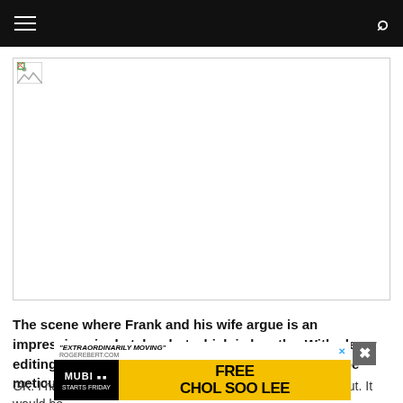Navigation bar with hamburger menu and search icon
[Figure (photo): Broken image placeholder - large white area with broken image icon in top left corner, bordered by thin gray line]
The scene where Frank and his wife argue is an impressive single-take shot which is lengthy. With clever editing, it's made even longer. I imagine that had to be meticulously planned, so what went into that?
GK: I ha... I wanted the action and enemy to come in and out. It would be
[Figure (screenshot): Advertisement banner for MUBI streaming service promoting 'Free Chol Soo Lee'. Top portion has white background with quote 'EXTRAORDINARILY MOVING' from ROGEREBERT.COM and a blue X close button. Main section has black left panel with MUBI logo and 'STARTS FRIDAY' text, and yellow right panel with large bold text 'FREE CHOL SOO LEE']